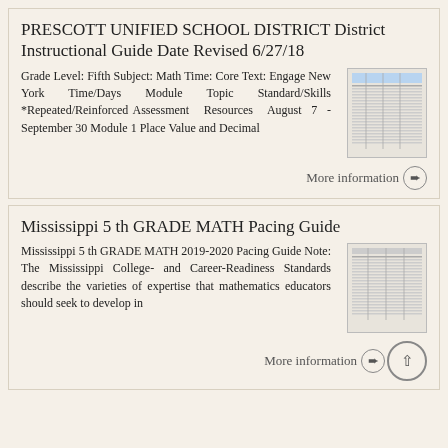PRESCOTT UNIFIED SCHOOL DISTRICT District Instructional Guide Date Revised 6/27/18
Grade Level: Fifth Subject: Math Time: Core Text: Engage New York Time/Days Module Topic Standard/Skills *Repeated/Reinforced Assessment Resources August 7 - September 30 Module 1 Place Value and Decimal
[Figure (other): Thumbnail image of a document page (table/grid layout)]
More information ➔
Mississippi 5 th GRADE MATH Pacing Guide
Mississippi 5 th GRADE MATH 2019-2020 Pacing Guide Note: The Mississippi College- and Career-Readiness Standards describe the varieties of expertise that mathematics educators should seek to develop in
[Figure (other): Thumbnail image of a document page (table/grid layout)]
More information ➔